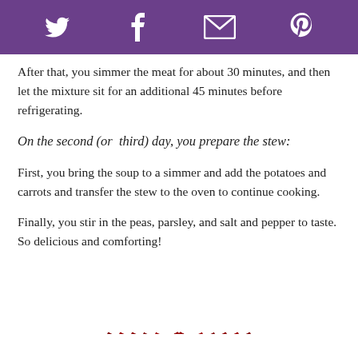Twitter Facebook Email Pinterest
After that, you simmer the meat for about 30 minutes, and then let the mixture sit for an additional 45 minutes before refrigerating.
On the second (or  third) day, you prepare the stew:
First, you bring the soup to a simmer and add the potatoes and carrots and transfer the stew to the oven to continue cooking.
Finally, you stir in the peas, parsley, and salt and pepper to taste. So delicious and comforting!
[Figure (illustration): Partial circular logo or decorative graphic with dark red concentric arcs, visible at the bottom center of the page.]